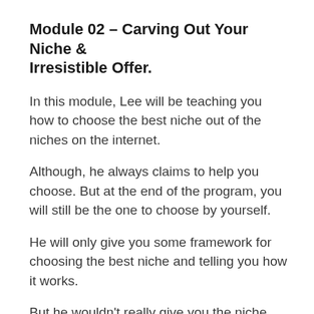Module 02 – Carving Out Your Niche & Irresistible Offer.
In this module, Lee will be teaching you how to choose the best niche out of the niches on the internet.
Although, he always claims to help you choose. But at the end of the program, you will still be the one to choose by yourself.
He will only give you some framework for choosing the best niche and telling you how it works.
But he wouldn't really give you the niche